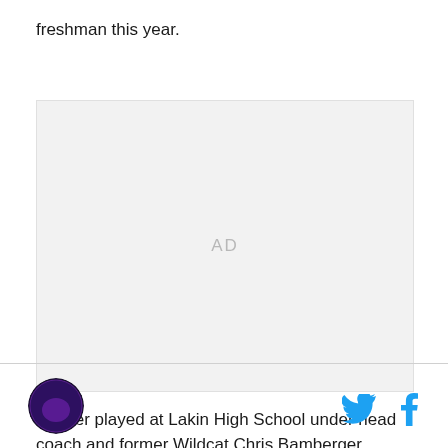freshman this year.
[Figure (other): Advertisement placeholder box with 'AD' label centered in light gray rectangle]
Panzer played at Lakin High School under head coach and former Wildcat Chris Bamberger.
[Figure (logo): Circular sports team logo with purple wildcat mascot on dark background]
[Figure (other): Twitter bird icon and Facebook f icon in cyan/blue color for social sharing]